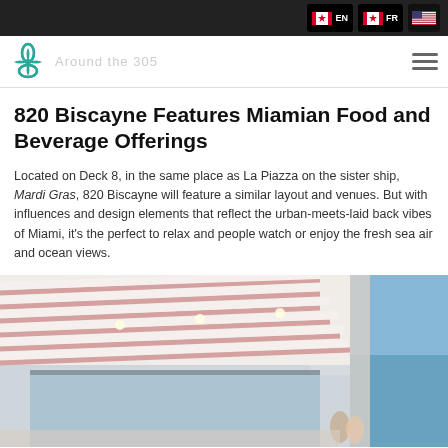Navigation bar with language selectors EN, FR and US flag
Logo and site navigation header - Around the 305
820 Biscayne Features Miamian Food and Beverage Offerings
Located on Deck 8, in the same place as La Piazza on the sister ship, Mardi Gras, 820 Biscayne will feature a similar layout and venues. But with influences and design elements that reflect the urban-meets-laid back vibes of Miami, it's the perfect to relax and people watch or enjoy the fresh sea air and ocean views.
[Figure (photo): Interior/exterior photo of a cruise ship deck area with white and pink striped ceiling/awning structure, glass walls, blue sky visible, people in the lower right corner]